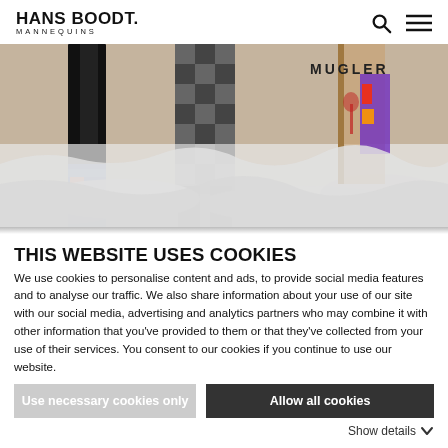HANS BOODT. MANNEQUINS
[Figure (photo): Fashion photo showing mannequin legs in patterned trousers and colorful boots standing on white plastic sheeting, with MUGLER branding visible in the background]
THIS WEBSITE USES COOKIES
We use cookies to personalise content and ads, to provide social media features and to analyse our traffic. We also share information about your use of our site with our social media, advertising and analytics partners who may combine it with other information that you've provided to them or that they've collected from your use of their services. You consent to our cookies if you continue to use our website.
Use necessary cookies only
Allow all cookies
Show details